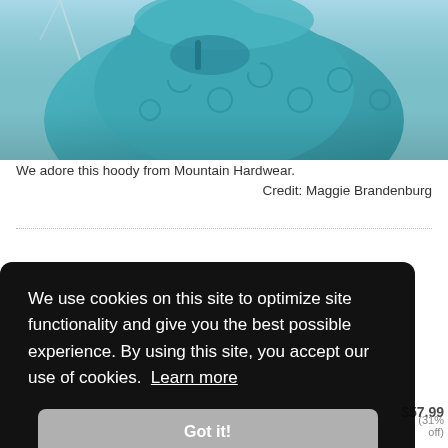[Figure (photo): Close-up photo of a person wearing a teal/turquoise Mountain Hardwear hoody with a patterned fabric, against a blue sky with bare tree branches]
We adore this hoody from Mountain Hardwear.
Credit: Maggie Brandenburg
We use cookies on this site to optimize site functionality and give you the best possible experience. By using this site, you accept our use of cookies. Learn more
Got it!